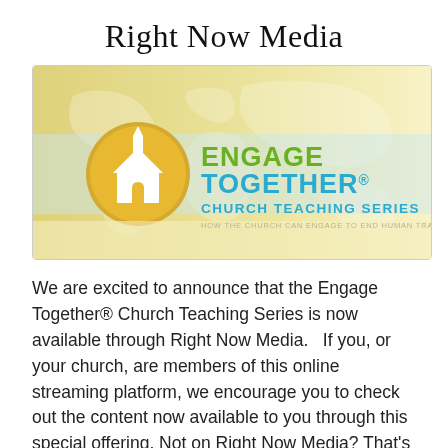Right Now Media
[Figure (illustration): Engage Together Church Teaching Series banner image with a world map background, a golden circle icon with a church building, and the text 'ENGAGE TOGETHER CHURCH TEACHING SERIES — HOW THE CHURCH CAN ENGAGE TO END HUMAN TRAFFICKING']
We are excited to announce that the Engage Together® Church Teaching Series is now available through Right Now Media.   If you, or your church, are members of this online streaming platform, we encourage you to check out the content now available to you through this special offering. Not on Right Now Media? That's ok! You